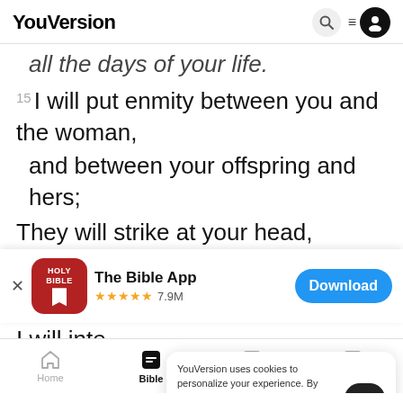YouVersion
all the days of your life.
15 I will put enmity between you and the woman,
and between your offspring and hers;
They will strike at your head,
while you strike at their heel
[Figure (screenshot): App store banner showing The Bible App with Holy Bible icon, 5 stars, 7.9M ratings, and a Download button]
I will inte
in pai
YouVersion uses cookies to personalize your experience. By using our website, you accept our use of cookies as described in our Privacy Policy.
Home  Bible  Plans  Videos